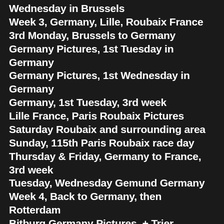Wednesday in Brussels
Week 3, Germany, Lille, Roubaix France
3rd Monday, Brussels to Germany
Germany Pictures, 1st Tuesday in Germany
Germany Pictures, 1st Wednesday in Germany
Germany, 1st Tuesday, 3rd week
Lille France, Paris Roubaix Pictures
Saturday Roubaix and surrounding area
Sunday, 115th Paris Roubaix race day
Thursday & Friday, Germany to France, 3rd week
Tuesday, Wednesday Gemund Germany
Week 4, Back to Germany, then Rotterdam
Bitburg Germany Pictures, + Trier
Monday, Tuesday, Lille to Gemund
Wed, Thursday, Friday and gone from Germany
Week 5, Holland
Amsterdam on Tuesday